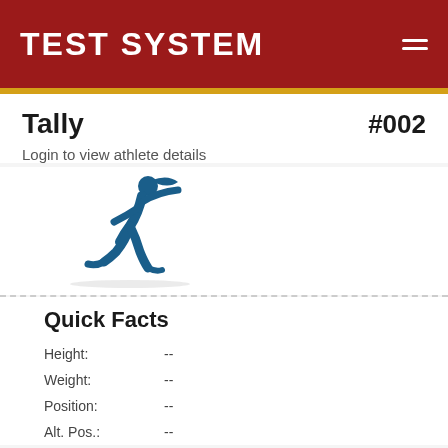TEST SYSTEM
Tally   #002
Login to view athlete details
[Figure (illustration): Blue silhouette of a female athlete running/kicking]
Quick Facts
| Field | Value |
| --- | --- |
| Height: | -- |
| Weight: | -- |
| Position: | -- |
| Alt. Pos.: | -- |